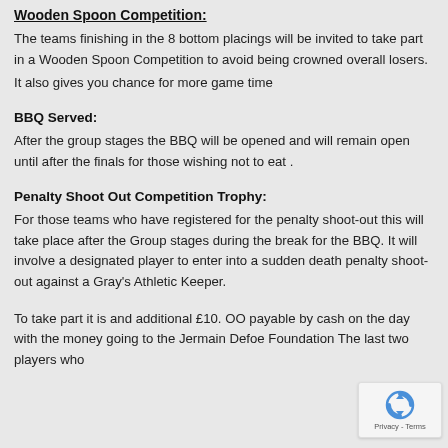Wooden Spoon Competition:
The teams finishing in the 8 bottom placings will be invited to take part in a Wooden Spoon Competition to avoid being crowned overall losers.
It also gives you chance for more game time
BBQ Served:
After the group stages the BBQ will be opened and will remain open until after the finals for those wishing not to eat .
Penalty Shoot Out Competition Trophy:
For those teams who have registered for the penalty shoot-out this will take place after the Group stages during the break for the BBQ. It will involve a designated player to enter into a sudden death penalty shoot-out against a Gray's Athletic Keeper.
To take part it is and additional £10. OO payable by cash on the day with the money going to the Jermain Defoe Foundation The last two players who